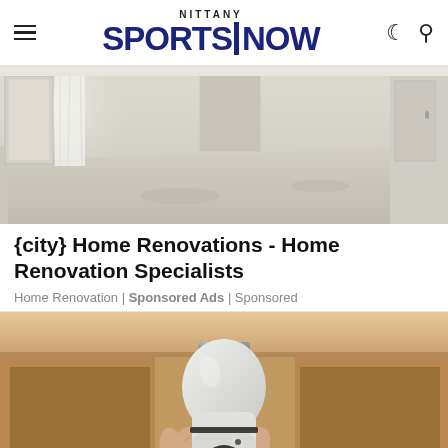Nittany Sports Now
[Figure (photo): Empty room under renovation with dusty floor, white curtain, and supplies in corner]
{city} Home Renovations - Home Renovation Specialists
Home Renovation | Sponsored Ads | Sponsored
[Figure (photo): Hand holding a light bulb security camera device]